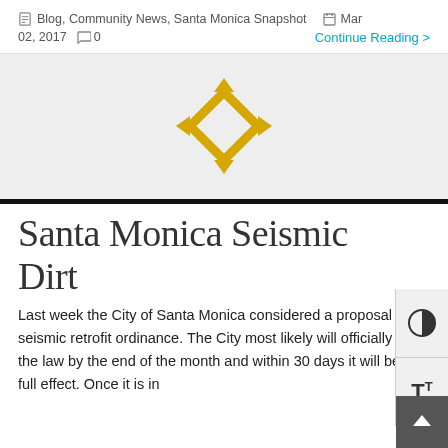Blog, Community News, Santa Monica Snapshot   Mar 02, 2017   0   Continue Reading >
[Figure (logo): Gold diamond/rhombus shaped logo outline on light gray background]
Santa Monica Seismic Dirt
Last week the City of Santa Monica considered a proposal for a seismic retrofit ordinance. The City most likely will officially pass the law by the end of the month and within 30 days it will be in full effect. Once it is in